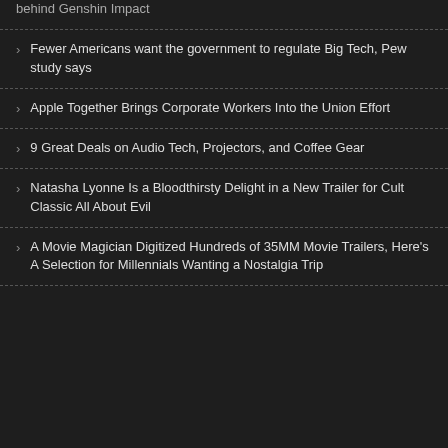behind Genshin Impact
Fewer Americans want the government to regulate Big Tech, Pew study says
Apple Together Brings Corporate Workers Into the Union Effort
9 Great Deals on Audio Tech, Projectors, and Coffee Gear
Natasha Lyonne Is a Bloodthirsty Delight in a New Trailer for Cult Classic All About Evil
A Movie Magician Digitized Hundreds of 35MM Movie Trailers, Here's A Selection for Millennials Wanting a Nostalgia Trip